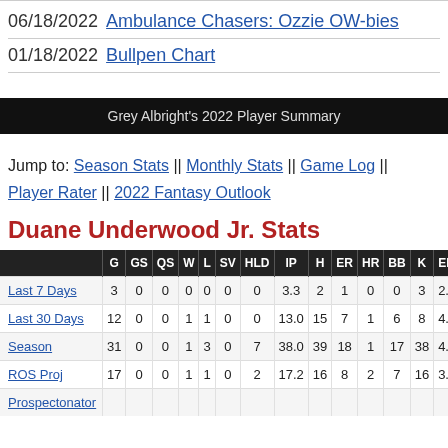06/18/2022  Ambulance Chasers: Ozzie OW-bies
01/18/2022  Bullpen Chart
Grey Albright's 2022 Player Summary
Jump to: Season Stats || Monthly Stats || Game Log || Player Rater || 2022 Fantasy Outlook
Duane Underwood Jr. Stats
|  | G | GS | QS | W | L | SV | HLD | IP | H | ER | HR | BB | K | ERA |
| --- | --- | --- | --- | --- | --- | --- | --- | --- | --- | --- | --- | --- | --- | --- |
| Last 7 Days | 3 | 0 | 0 | 0 | 0 | 0 | 0 | 3.3 | 2 | 1 | 0 | 0 | 3 | 2.70 |
| Last 30 Days | 12 | 0 | 0 | 1 | 1 | 0 | 0 | 13.0 | 15 | 7 | 1 | 6 | 8 | 4.85 |
| Season | 31 | 0 | 0 | 1 | 3 | 0 | 7 | 38.0 | 39 | 18 | 1 | 17 | 38 | 4.26 |
| ROS Proj | 17 | 0 | 0 | 1 | 1 | 0 | 2 | 17.2 | 16 | 8 | 2 | 7 | 16 | 3.98 |
| Prospectonator |  |  |  |  |  |  |  |  |  |  |  |  |  |  |